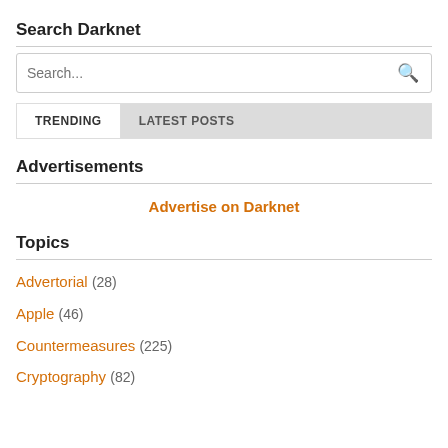Search Darknet
[Figure (screenshot): Search input box with placeholder text 'Search...' and a search icon]
[Figure (screenshot): Tab bar with TRENDING (active) and LATEST POSTS tabs on grey background]
Advertisements
Advertise on Darknet
Topics
Advertorial (28)
Apple (46)
Countermeasures (225)
Cryptography (82)